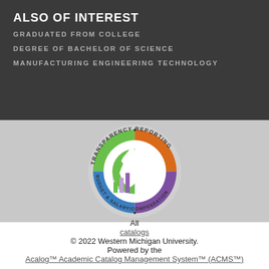ALSO OF INTEREST
GRADUATED FROM COLLEGE
DEGREE OF BACHELOR OF SCIENCE
MANUFACTURING ENGINEERING TECHNOLOGY
[Figure (logo): Transparency Reporting - Budget & Salary/Compensation circular logo featuring Michigan state silhouette, globe, and bar charts in green, orange, blue, and purple colors]
All catalogs © 2022 Western Michigan University. Powered by the Acalog™ Academic Catalog Management System™ (ACMS™).